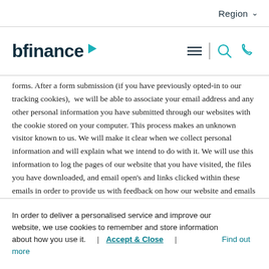Region
[Figure (logo): bfinance logo with teal right-pointing triangle arrow, followed by hamburger menu icon, search icon, and phone icon]
forms. After a form submission (if you have previously opted-in to our tracking cookies), we will be able to associate your email address and any other personal information you have submitted through our websites with the cookie stored on your computer. This process makes an unknown visitor known to us. We will make it clear when we collect personal information and will explain what we intend to do with it. We will use this information to log the pages of our website that you have visited, the files you have downloaded, and email open's and links clicked within these emails in order to provide us with feedback on how our website and emails are performing.
In order to deliver a personalised service and improve our website, we use cookies to remember and store information about how you use it.   |   Accept & Close   |   Find out more